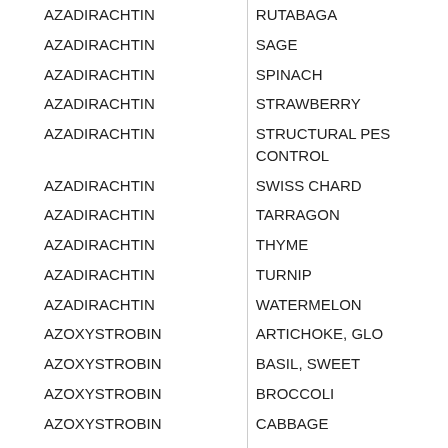| Active Ingredient | Crop/Use |
| --- | --- |
| AZADIRACHTIN | RUTABAGA |
| AZADIRACHTIN | SAGE |
| AZADIRACHTIN | SPINACH |
| AZADIRACHTIN | STRAWBERRY |
| AZADIRACHTIN | STRUCTURAL PEST CONTROL |
| AZADIRACHTIN | SWISS CHARD |
| AZADIRACHTIN | TARRAGON |
| AZADIRACHTIN | THYME |
| AZADIRACHTIN | TURNIP |
| AZADIRACHTIN | WATERMELON |
| AZOXYSTROBIN | ARTICHOKE, GLO... |
| AZOXYSTROBIN | BASIL, SWEET |
| AZOXYSTROBIN | BROCCOLI |
| AZOXYSTROBIN | CABBAGE |
| AZOXYSTROBIN | CANTALOUPE |
| AZOXYSTROBIN | CELERY |
| AZOXYSTROBIN | CHINESE BROCC... |